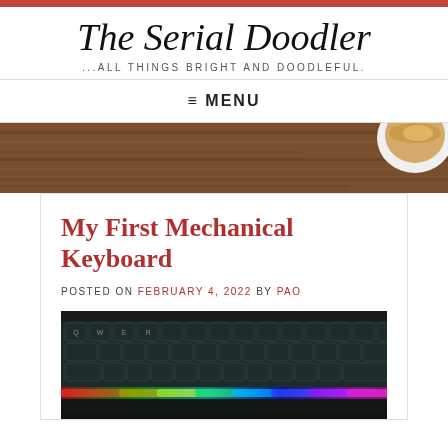The Serial Doodler — ...ALL THINGS BRIGHT AND DOODLEFUL.
≡ MENU
[Figure (photo): Wooden table background with a latte coffee cup in the top right corner]
My First Mechanical Keyboard
POSTED ON FEBRUARY 4, 2022 BY PAO
[Figure (photo): RGB mechanical keyboard with colorful backlit keys including red, green, blue, and purple lighting]